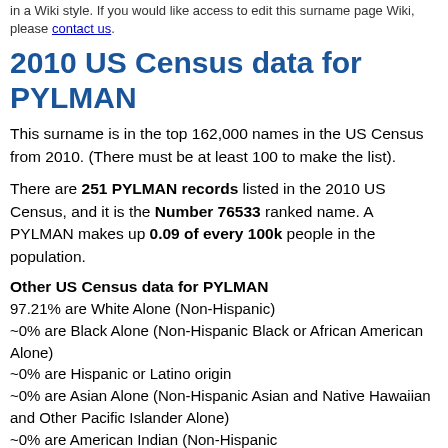in a Wiki style. If you would like access to edit this surname page Wiki, please contact us.
2010 US Census data for PYLMAN
This surname is in the top 162,000 names in the US Census from 2010. (There must be at least 100 to make the list).
There are 251 PYLMAN records listed in the 2010 US Census, and it is the Number 76533 ranked name. A PYLMAN makes up 0.09 of every 100k people in the population.
Other US Census data for PYLMAN
97.21% are White Alone (Non-Hispanic)
~0% are Black Alone (Non-Hispanic Black or African American Alone)
~0% are Hispanic or Latino origin
~0% are Asian Alone (Non-Hispanic Asian and Native Hawaiian and Other Pacific Islander Alone)
~0% are American Indian (Non-Hispanic